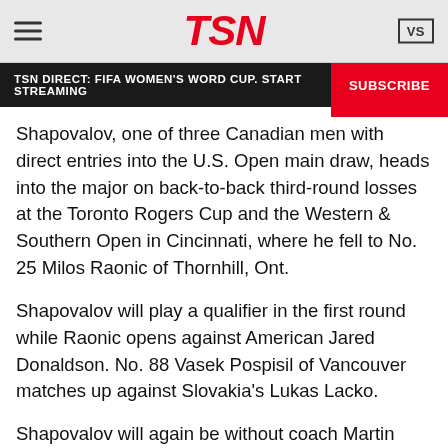TSN
TSN DIRECT: FIFA WOMEN'S WORD CUP. START STREAMING   SUBSCRIBE
Shapovalov, one of three Canadian men with direct entries into the U.S. Open main draw, heads into the major on back-to-back third-round losses at the Toronto Rogers Cup and the Western & Southern Open in Cincinnati, where he fell to No. 25 Milos Raonic of Thornhill, Ont.
Shapovalov will play a qualifier in the first round while Raonic opens against American Jared Donaldson. No. 88 Vasek Pospisil of Vancouver matches up against Slovakia's Lukas Lacko.
Shapovalov will again be without coach Martin Laurendeau — the former Montreal tennis pro hasn't travelled since dislocating a disc in his back in June. But his mother Tessa, also a former pro who owns a tennis club in Vaughan, Ont., has taken over the coaching reigns in her son's five